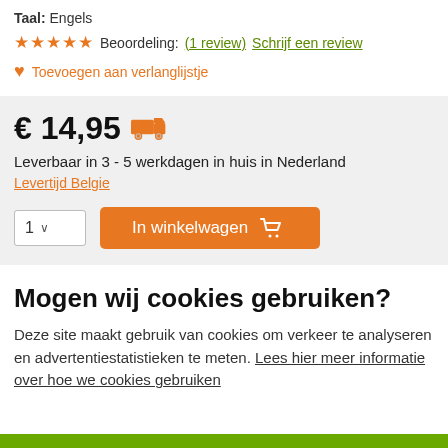Taal: Engels
★★★★★ Beoordeling: (1 review) Schrijf een review
♥ Toevoegen aan verlanglijstje
€ 14,95
Leverbaar in 3 - 5 werkdagen in huis in Nederland
Levertijd Belgie
1  In winkelwagen
Mogen wij cookies gebruiken?
Deze site maakt gebruik van cookies om verkeer te analyseren en advertentiestatistieken te meten. Lees hier meer informatie over hoe we cookies gebruiken